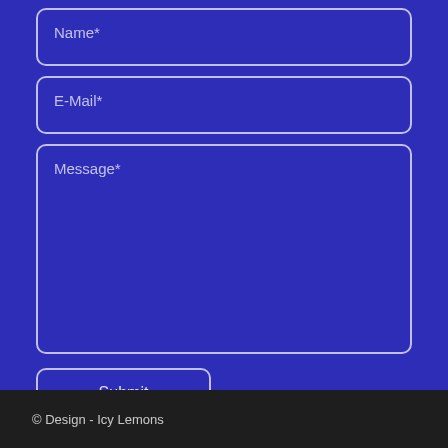Name*
E-Mail*
Message*
Submit
© Design - Icy Lemons